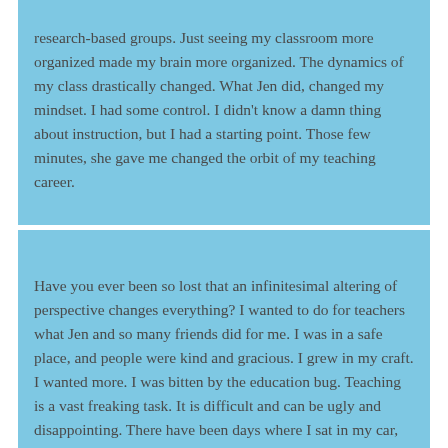research-based groups. Just seeing my classroom more organized made my brain more organized. The dynamics of my class drastically changed. What Jen did, changed my mindset. I had some control. I didn't know a damn thing about instruction, but I had a starting point. Those few minutes, she gave me changed the orbit of my teaching career.
Have you ever been so lost that an infinitesimal altering of perspective changes everything? I wanted to do for teachers what Jen and so many friends did for me. I was in a safe place, and people were kind and gracious. I grew in my craft. I wanted more. I was bitten by the education bug. Teaching is a vast freaking task. It is difficult and can be ugly and disappointing. There have been days where I sat in my car, before school, contemplating the day and hoping